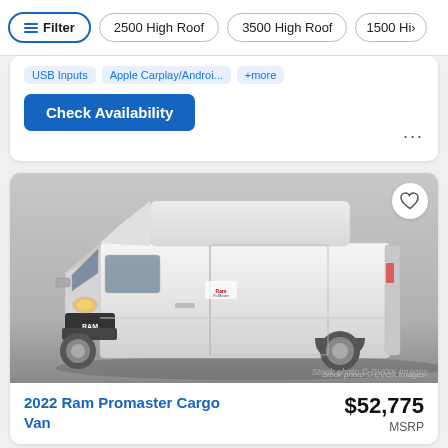Filter | 2500 High Roof | 3500 High Roof | 1500 Hi>
USB Inputs  Apple Carplay/Androi...  +more
Check Availability
[Figure (photo): White Ram Promaster Cargo Van, 3/4 front view, on grey background. Stock photo © EVOX Images watermark in bottom right.]
2022 Ram Promaster Cargo Van
$52,775 MSRP